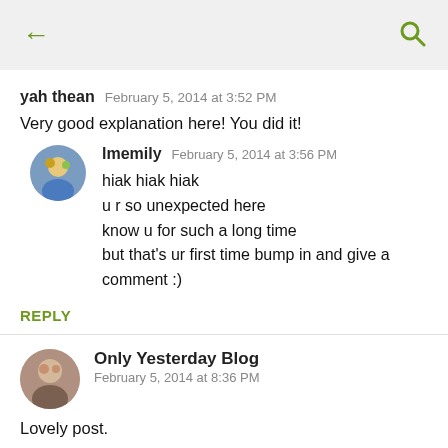← [back arrow] [search icon]
yah thean   February 5, 2014 at 3:52 PM
Very good explanation here! You did it!
lmemily   February 5, 2014 at 3:56 PM
hiak hiak hiak
u r so unexpected here
know u for such a long time
but that's ur first time bump in and give a comment :)
REPLY
Only Yesterday Blog
February 5, 2014 at 8:36 PM
Lovely post.
Join my Giveaway here!
Visit my blog here: Blossoming Wallflower